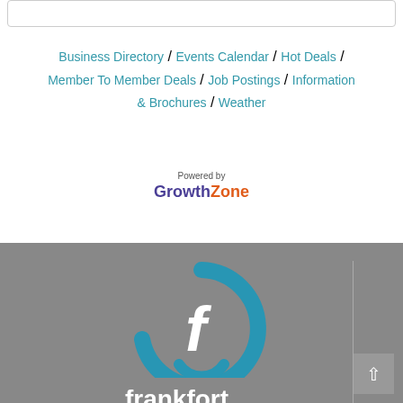Business Directory / Events Calendar / Hot Deals / Member To Member Deals / Job Postings / Information & Brochures / Weather
[Figure (logo): Powered by GrowthZone logo — 'Growth' in purple bold, 'Zone' in orange bold]
[Figure (logo): Frankfort city logo — circular arc in teal/blue with stylized white F inside, text 'frankfort' in white below on gray background]